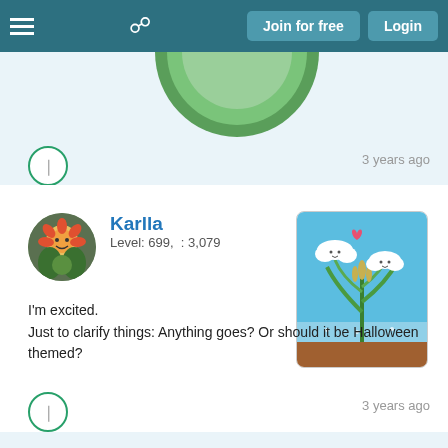Join for free | Login
3 years ago
6
Karlla
Level: 699,  : 3,079
[Figure (illustration): Cartoon illustration of rice plant growing in water with two smiling clouds and a pink heart above, brown soil base, blue sky background]
I'm excited.
Just to clarify things: Anything goes? Or should it be Halloween themed?
3 years ago
0